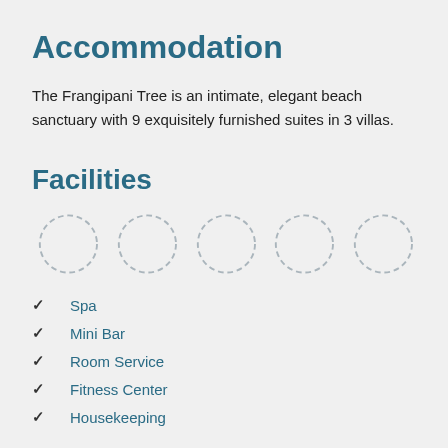Accommodation
The Frangipani Tree is an intimate, elegant beach sanctuary with 9 exquisitely furnished suites in 3 villas.
Facilities
[Figure (illustration): Five dashed-outline circles arranged in a row, representing facility icons (placeholders)]
Spa
Mini Bar
Room Service
Fitness Center
Housekeeping